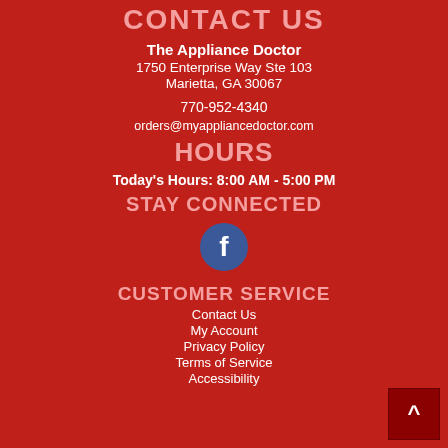CONTACT US
The Appliance Doctor
1750 Enterprise Way Ste 103
Marietta, GA 30067
770-952-4340
orders@myappliancedoctor.com
HOURS
Today's Hours: 8:00 AM - 5:00 PM
STAY CONNECTED
[Figure (logo): Facebook icon - blue circle with white letter f]
CUSTOMER SERVICE
Contact Us
My Account
Privacy Policy
Terms of Service
Accessibility